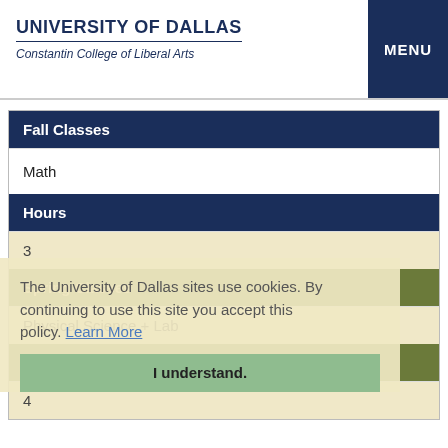UNIVERSITY OF DALLAS | Constantin College of Liberal Arts | MENU
| Fall Classes |
| --- |
| Math |
| Hours |
| 3 |
The University of Dallas sites use cookies. By continuing to use this site you accept this policy. Learn More
| Spring Classes |
| --- |
| Physical Science + Lab |
| Hours |
| I understand. |
| 4 |